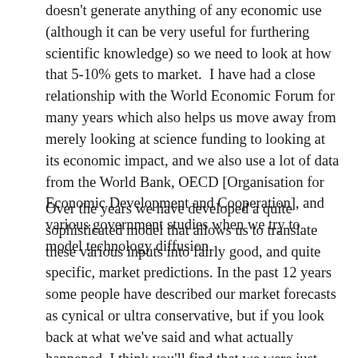doesn't generate anything of any economic use (although it can be very useful for furthering scientific knowledge) so we need to look at how that 5-10% gets to market.  I have had a close relationship with the World Economic Forum for many years which also helps us move away from merely looking at science funding to looking at its economic impact, and we also use a lot of data from the World Bank, OECD [Organisation for Economic Development and Cooperation], and various government studies when we try to model technology diffusion.
Over the years we have developed a quite sophisticated model that allows us to translate these various inputs into fairly good, and quite specific, market predictions. In the past 12 years some people have described our market forecasts as cynical or ultra conservative, but if you look back at what we've said and what actually happened, I think you'll find that we were just being realistic. I know that some people want to see big numbers, but it must be all those years as a scientist